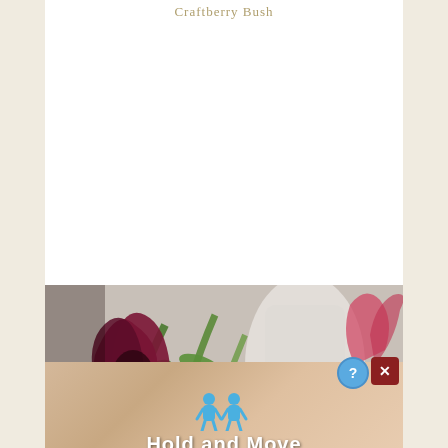Craftberry Bush
[Figure (photo): Close-up photograph of dark red/burgundy tulips with green stems against a blurred white and grey background]
[Figure (screenshot): Advertisement banner with wood-grain background showing two blue cartoon figures and text 'Hold and Move' with help and close buttons]